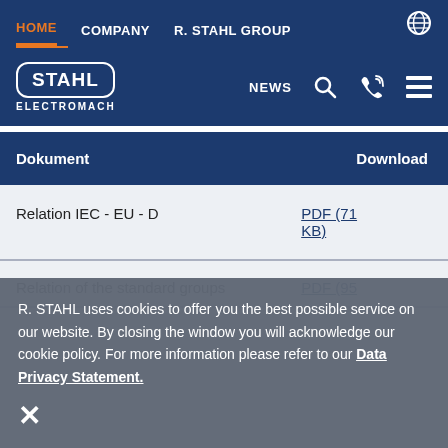HOME  COMPANY  R. STAHL GROUP
[Figure (logo): STAHL ELECTROMACH logo with navigation icons: NEWS, search, phone, menu]
| Dokument | Download |
| --- | --- |
| Relation IEC - EU - D | PDF (71 KB) |
| Relation of the standard groups | PDF (95 |
R. STAHL uses cookies to offer you the best possible service on our website. By closing the window you will acknowledge our cookie policy. For more information please refer to our Data Privacy Statement.